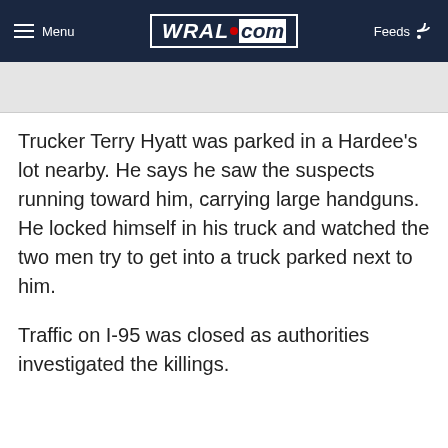Menu | WRAL.com | Feeds
Trucker Terry Hyatt was parked in a Hardee's lot nearby. He says he saw the suspects running toward him, carrying large handguns. He locked himself in his truck and watched the two men try to get into a truck parked next to him.
Traffic on I-95 was closed as authorities investigated the killings.